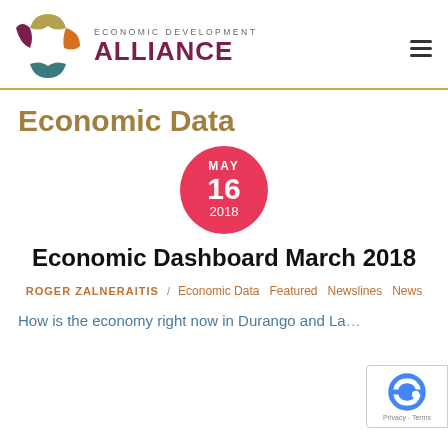Economic Development Alliance
Economic Data
[Figure (other): Date badge circle showing MAY 16 2018 in red/pink]
Economic Dashboard March 2018
ROGER ZALNERAITIS / Economic Data  Featured  Newslines  News
How is the economy right now in Durango and La...